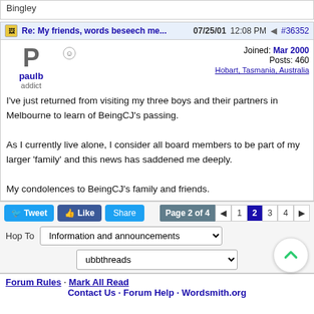Bingley
Re: My friends, words beseech me...  07/25/01 12:08 PM  #36352
paulb
addict
Joined: Mar 2000
Posts: 460
Hobart, Tasmania, Australia
I've just returned from visiting my three boys and their partners in Melbourne to learn of BeingCJ's passing.

As I currently live alone, I consider all board members to be part of my larger 'family' and this news has saddened me deeply.

My condolences to BeingCJ's family and friends.
Tweet  Like  Share  Page 2 of 4  1  2  3  4
Hop To
Information and announcements
ubbthreads
Forum Rules · Mark All Read
Contact Us · Forum Help · Wordsmith.org